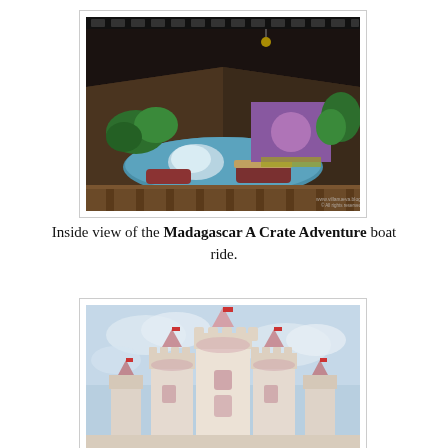[Figure (photo): Inside view of the Madagascar A Crate Adventure boat ride, showing a covered arena with blue water channel, boats, tropical plants, and a colorful stage backdrop]
Inside view of the Madagascar A Crate Adventure boat ride.
[Figure (photo): View of a fairytale castle with pink and white towers and turrets, flags on top, against a light blue sky — resembling a theme park castle]